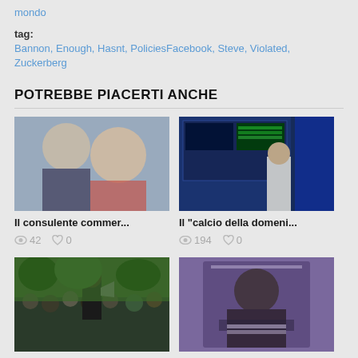mondo
tag:
Bannon, Enough, Hasnt, PoliciesFacebook, Steve, Violated,
Zuckerberg
POTREBBE PIACERTI ANCHE
[Figure (photo): Two men in suits, one older in foreground and one (Trump) in background]
Il consulente commer...
42  0
[Figure (photo): TV studio with large screens showing sports data, presenter standing in front]
Il "calcio della domeni..."
194  0
[Figure (photo): Protest crowd with person holding megaphone in foreground, trees in background]
Democrats Got Troun...
160  0
[Figure (photo): Book cover with portrait of Barack Obama on purple/grey background with name text]
Le memorie di Barack...
104  0
[Figure (photo): Partial image at bottom left, appears to show people]
[Figure (photo): Partial image at bottom right, appears to show food or objects]